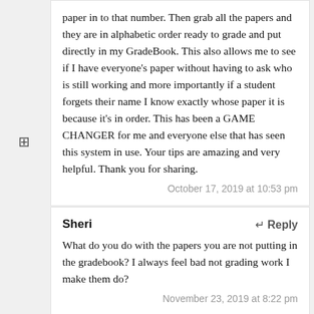paper in to that number. Then grab all the papers and they are in alphabetic order ready to grade and put directly in my GradeBook. This also allows me to see if I have everyone's paper without having to ask who is still working and more importantly if a student forgets their name I know exactly whose paper it is because it's in order. This has been a GAME CHANGER for me and everyone else that has seen this system in use. Your tips are amazing and very helpful. Thank you for sharing.
October 17, 2019 at 10:53 pm
Sheri
↵ Reply
What do you do with the papers you are not putting in the gradebook? I always feel bad not grading work I make them do?
November 23, 2019 at 8:22 pm